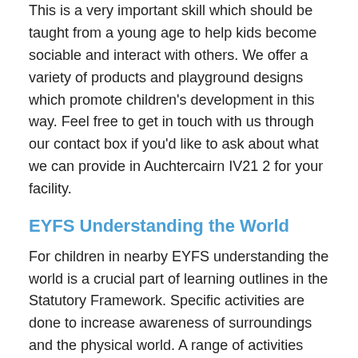This is a very important skill which should be taught from a young age to help kids become sociable and interact with others. We offer a variety of products and playground designs which promote children's development in this way. Feel free to get in touch with us through our contact box if you'd like to ask about what we can provide in Auchtercairn IV21 2 for your facility.
EYFS Understanding the World
For children in nearby EYFS understanding the world is a crucial part of learning outlines in the Statutory Framework. Specific activities are done to increase awareness of surroundings and the physical world. A range of activities designed to teach about people, places and technology can be incorporated into this learning outcome.
Pretend sets and role play equipment are excellent for developing this knowledge. These are often recommended by OFSTED inspectors as part of the framework for promoting specific skills. For example using make believe shops, mud kitchens, dens http://www.eyfsplay.co.uk/equipment/den/highland/auchtercairn/ and post office play panels all help kids to develop and